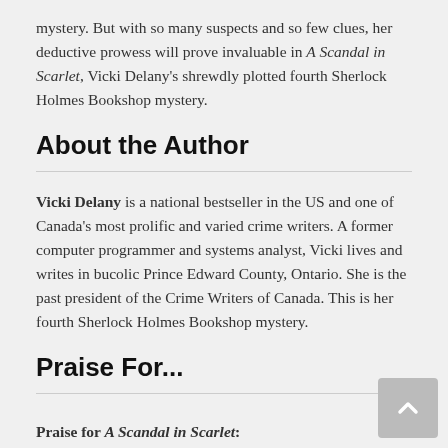mystery. But with so many suspects and so few clues, her deductive prowess will prove invaluable in A Scandal in Scarlet, Vicki Delany's shrewdly plotted fourth Sherlock Holmes Bookshop mystery.
About the Author
Vicki Delany is a national bestseller in the US and one of Canada's most prolific and varied crime writers. A former computer programmer and systems analyst, Vicki lives and writes in bucolic Prince Edward County, Ontario. She is the past president of the Crime Writers of Canada. This is her fourth Sherlock Holmes Bookshop mystery.
Praise For...
Praise for A Scandal in Scarlet:
“Well-plotted…Delany’s liberal sprinkling of references to real